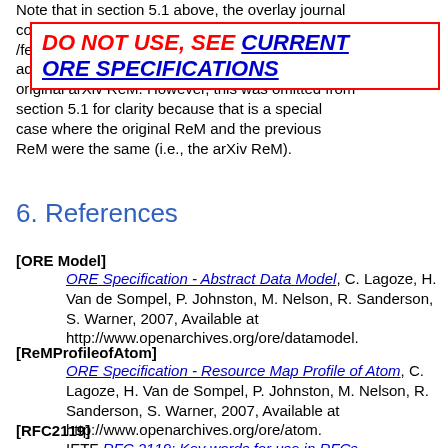Note that in section 5.1 above, the overlay journal could /fee addi original arXiv ReM. However, this was omitted from section 5.1 for clarity because that is a special case where the original ReM and the previous ReM were the same (i.e., the arXiv ReM).
[Figure (other): Red-bordered warning box with text: DO NOT USE, SEE CURRENT ORE SPECIFICATIONS (blue underlined link)]
6. References
[ORE Model] ORE Specification - Abstract Data Model, C. Lagoze, H. Van de Sompel, P. Johnston, M. Nelson, R. Sanderson, S. Warner, 2007, Available at http://www.openarchives.org/ore/datamodel.
[ReMProfileofAtom] ORE Specification - Resource Map Profile of Atom, C. Lagoze, H. Van de Sompel, P. Johnston, M. Nelson, R. Sanderson, S. Warner, 2007, Available at http://www.openarchives.org/ore/atom.
[RFC2119] IETF RFC 2119: Key words for use in RFCs